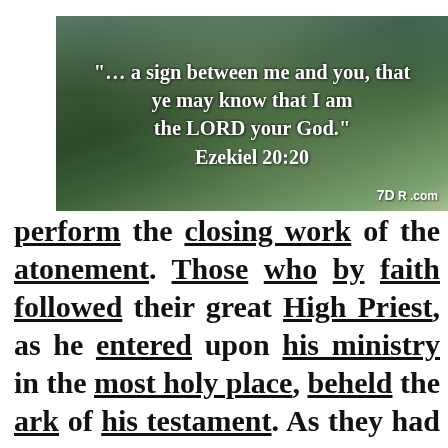[Figure (photo): Forest landscape with mountains in background, overlaid with white bold text quoting Ezekiel 20:20 and a 7DR.com watermark]
perform the closing work of the atonement. Those who by faith followed their great High Priest, as he entered upon his ministry in the most holy place, beheld the ark of his testament. As they had studied the subject of the sanctuary, they